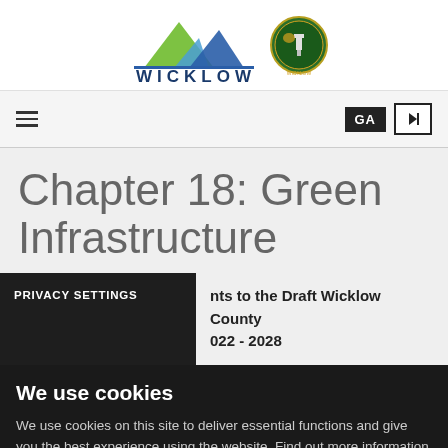[Figure (logo): Wicklow County Council logo with mountain graphic and crest, text WICKLOW ENDLESS OPPORTUNITIES]
Navigation bar with hamburger menu, GA language button, and login arrow button
Chapter 18: Green Infrastructure
...nts to the Draft Wicklow County ...022 - 2028
PRIVACY SETTINGS
We use cookies
We use cookies on this site to deliver essential functions and give you the best experience using the website. Find out more information about using cookies in our Cookie Policy.